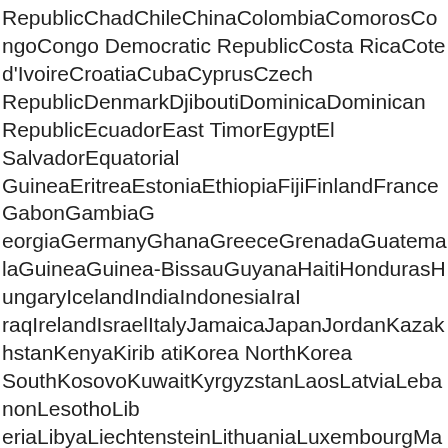RepublicChadChileChinaColombiaComorosCongoCongo Democratic RepublicCosta RicaCote d'IvoireCroatiaCubaCyprusCzech RepublicDenmarkDjiboutiDominicaDominican RepublicEcuadorEast TimorEgyptEl SalvadorEquatorial GuineaEritreaEstoniaEthiopiaFijiFinlandFranceGabonGambiaGeorgiaGermanyGhanaGreeceGrenadaGuatemalaGuineaGuinea-BissauGuyanaHaitiHondurasHungaryIcelandIndiaIndonesiaIraqIrelandIsraelItalyJamaicaJapanJordanKazakhstanKenyaKiribatiKorea NorthKorea SouthKosovoKuwaitKyrgyzstanLaosLatviaLebanonLesothoLiberiaLibyaLiechtensteinLithuaniaLuxembourgMacedoniaMadagascarMalawiMalaysiaMaldivesMaliMaltaMarshall IslandsMauritaniaMauritiusMexicoMicronesiaMoldovaMonacoMongoliaMontenegroMoroccoMozambiqueMyanmarr (Burma)NamibiaNauruNepalThe NetherlandsNew ZealandNicaraguaNigerNigeriaNorwayOmanPakistanPalauPale